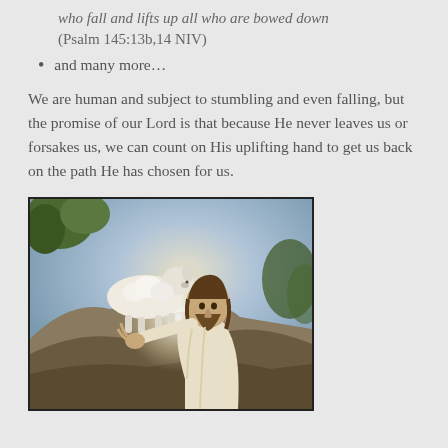who fall and lifts up all who are bowed down
(Psalm 145:13b,14 NIV)
and many more…
We are human and subject to stumbling and even falling, but the promise of our Lord is that because He never leaves us or forsakes us, we can count on His uplifting hand to get us back on the path He has chosen for us.
[Figure (illustration): Painting of Jesus in white robes reaching out his hand toward a white lamb standing on a rocky ledge, with a glowing light in the background and trees to the left.]